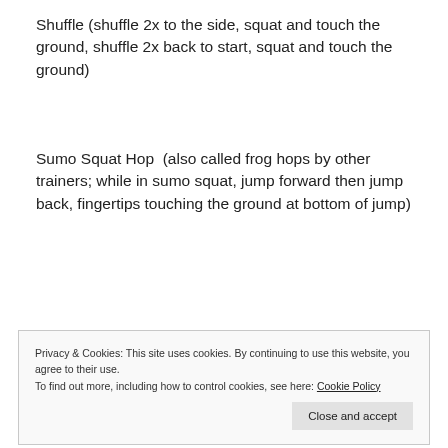Shuffle (shuffle 2x to the side, squat and touch the ground, shuffle 2x back to start, squat and touch the ground)
Sumo Squat Hop  (also called frog hops by other trainers; while in sumo squat, jump forward then jump back, fingertips touching the ground at bottom of jump)
3 Way Lunge (front lunge, side lunge, reverse lunge-15 reps each leg)
Privacy & Cookies: This site uses cookies. By continuing to use this website, you agree to their use.
To find out more, including how to control cookies, see here: Cookie Policy
back to 12 o'clock; each time you lunge you also